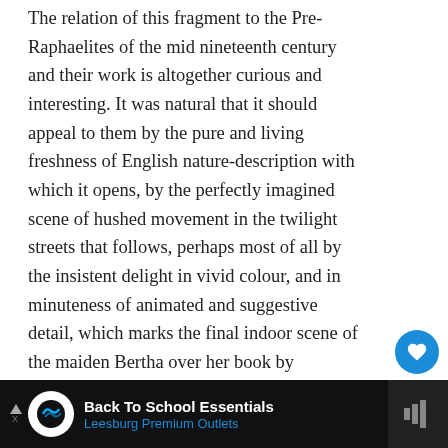The relation of this fragment to the Pre-Raphaelites of the mid nineteenth century and their work is altogether curious and interesting. It was natural that it should appeal to them by the pure and living freshness of English nature-description with which it opens, by the perfectly imagined scene of hushed movement in the twilight streets that follows, perhaps most of all by the insistent delight in vivid colour, and in minuteness of animated and suggestive detail, which marks the final indoor scene of the maiden Bertha over her book by firelight. But what is strange is that Rossetti should not only have coupled the fragment with La Belle Dame sans Merci as 'the chastest and choicest example of Keats's maturing manner,' an opinion which may well pass, but that he should have showing 'astonishingly real mediævalism for o an artist,' and even as the finest picture of the Middle Age
[Figure (screenshot): UI overlay with heart/like button (blue circle with heart icon), count '1', and share button (white circle with share icon)]
[Figure (screenshot): WHAT'S NEXT panel showing thumbnail and text 'Sidney Colvin John Keats...']
[Figure (screenshot): Advertisement bar for 'Back To School Essentials - Leesburg Premium Outlets' with logo and navigation icon on black background]